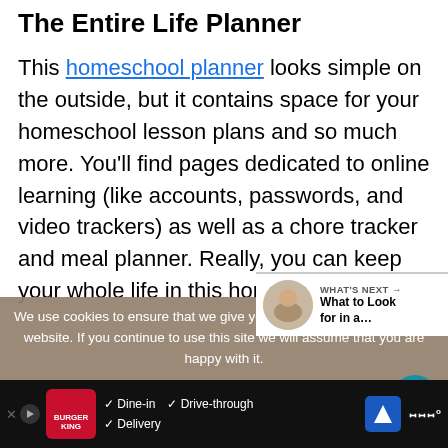The Entire Life Planner
This homeschool planner looks simple on the outside, but it contains space for your homeschool lesson plans and so much more. You'll find pages dedicated to online learning (like accounts, passwords, and video trackers) as well as a chore tracker and meal planner. Really, you can keep your whole life in this homeschoo…
We use cookies to ensure that we give you the best experience on our website. If you continue to use this site we will assume that you are happy with it.
WHAT'S NEXT → What to Look for in a…
Dine-in  Drive-through  Delivery